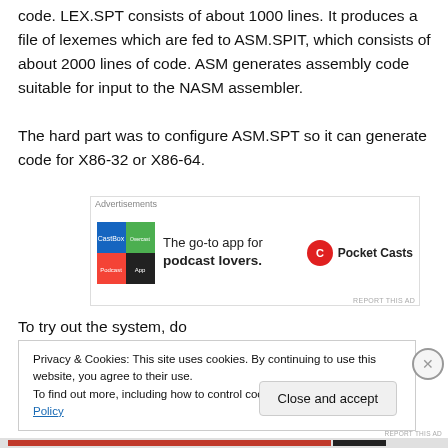code. LEX.SPT consists of about 1000 lines. It produces a file of lexemes which are fed to ASM.SPIT, which consists of about 2000 lines of code. ASM generates assembly code suitable for input to the NASM assembler.
The hard part was to configure ASM.SPT so it can generate code for X86-32 or X86-64.
[Figure (other): Advertisement banner for Pocket Casts podcast app]
To try out the system, do
Privacy & Cookies: This site uses cookies. By continuing to use this website, you agree to their use.
To find out more, including how to control cookies, see here: Cookie Policy